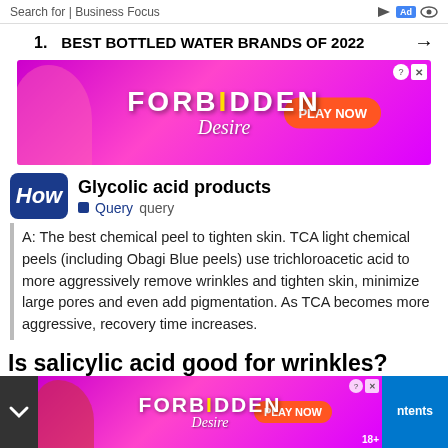Search for | Business Focus
1. BEST BOTTLED WATER BRANDS OF 2022 →
[Figure (illustration): FORBIDDEN Desire advertisement banner with pink/purple gradient background, female figure silhouette, PLAY NOW button]
Glycolic acid products
■ Query  query
A: The best chemical peel to tighten skin. TCA light chemical peels (including Obagi Blue peels) use trichloroacetic acid to more aggressively remove wrinkles and tighten skin, minimize large pores and even add pigmentation. As TCA becomes more aggressive, recovery time increases.
Is salicylic acid good for wrinkles?
Salicylic acid helps minimize the signs of aging in a number of ways. "By removing cells from the skin's surface, you can impro... spots...
[Figure (illustration): FORBIDDEN Desire bottom overlay advertisement with chevron/dropdown icon, PLAY NOW button, and Contents button on right]